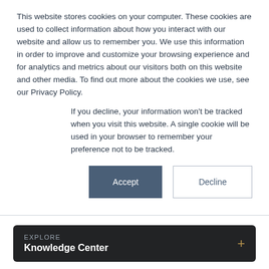This website stores cookies on your computer. These cookies are used to collect information about how you interact with our website and allow us to remember you. We use this information in order to improve and customize your browsing experience and for analytics and metrics about our visitors both on this website and other media. To find out more about the cookies we use, see our Privacy Policy.
If you decline, your information won't be tracked when you visit this website. A single cookie will be used in your browser to remember your preference not to be tracked.
Accept | Decline
EXPLORE
Knowledge Center
TCJA is the Gift That Keeps